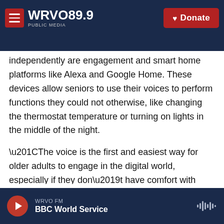WRVO 89.9 PUBLIC MEDIA — Donate
independently are engagement and smart home platforms like Alexa and Google Home. These devices allow seniors to use their voices to perform functions they could not otherwise, like changing the thermostat temperature or turning on lights in the middle of the night.
“The voice is the first and easiest way for older adults to engage in the digital world, especially if they don’t have comfort with computers or tablets and smartphones,” Olson said. “And this can be incredibly empowering.”
WRVO FM — BBC World Service